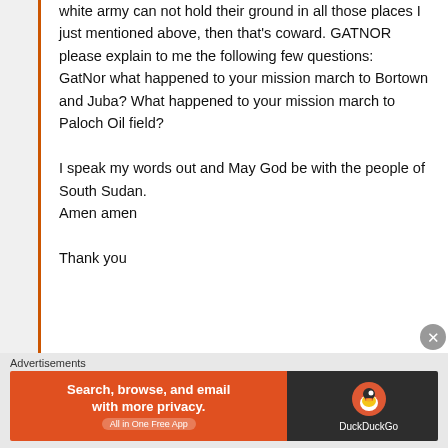white army can not hold their ground in all those places I just mentioned above, then that's coward. GATNOR please explain to me the following few questions:
GatNor what happened to your mission march to Bortown and Juba? What happened to your mission march to Paloch Oil field?

I speak my words out and May God be with the people of South Sudan.
Amen amen

Thank you
[Figure (infographic): DuckDuckGo advertisement banner: orange left panel with text 'Search, browse, and email with more privacy. All in One Free App', dark right panel with DuckDuckGo duck logo and brand name.]